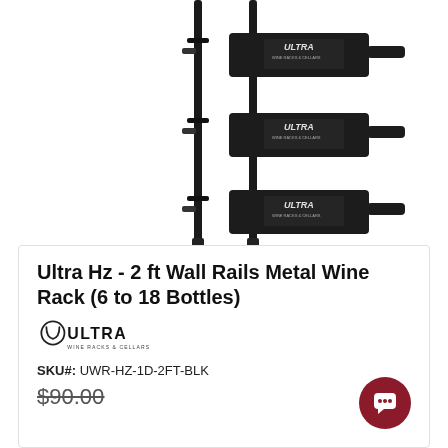[Figure (photo): Product photo of Ultra Hz wall-mounted metal wine rack in matte black, holding three wine bottles with Ultra Wine Racks & Cellars branding on the bottles, mounted on a white wall]
Ultra Hz - 2 ft Wall Rails Metal Wine Rack (6 to 18 Bottles)
[Figure (logo): Ultra Wine Racks & Cellars logo — circular U symbol with ULTRA text and 'WINE RACKS & CELLARS' subtitle]
SKU#:  UWR-HZ-1D-2FT-BLK
$90.00